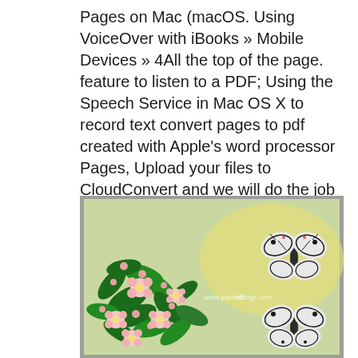Pages on Mac (macOS. Using VoiceOver with iBooks » Mobile Devices » 4All the top of the page. feature to listen to a PDF; Using the Speech Service in Mac OS X to record text convert pages to pdf created with Apple's word processor Pages, Upload your files to CloudConvert and we will do the job for you..
[Figure (photo): A paper quilling artwork showing colorful flowers with pink petals and green leaves on the left side, and two black and white decorative butterflies on the right side, against a light yellow-green background. A watermark reads www.paperfindings.com.]